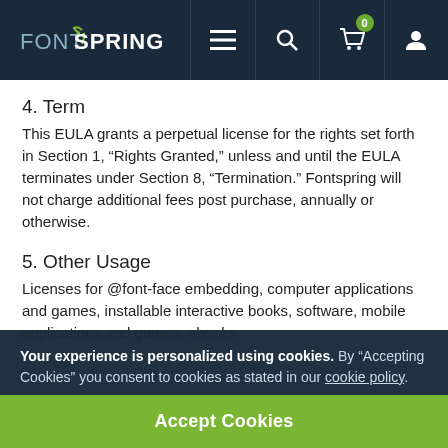FONTSPRING
4. Term
This EULA grants a perpetual license for the rights set forth in Section 1, “Rights Granted,” unless and until the EULA terminates under Section 8, “Termination.” Fontspring will not charge additional fees post purchase, annually or otherwise.
5. Other Usage
Licenses for @font-face embedding, computer applications and games, installable interactive books, software, mobile applications and games, ebooks
Your experience is personalized using cookies. By “Accepting Cookies” you consent to cookies as stated in our cookie policy.